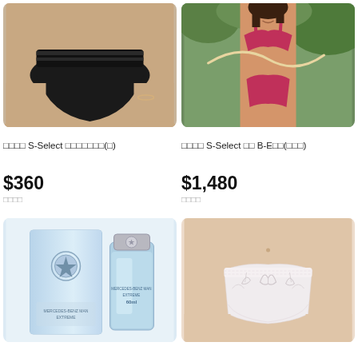[Figure (photo): Black mesh bikini underwear on light-skinned model, close-up from waist down]
□□□□ S-Select □□□□□□□(□)
$360
□□□□
[Figure (photo): Woman in red/pink bikini set holding a jump rope, outdoor background with greenery]
□□□□ S-Select □□ B-E□□(□□□)
$1,480
□□□□
[Figure (photo): Mercedes-Benz branded cologne/perfume bottle, light blue rectangular bottle with silver cap and star logo]
[Figure (photo): White lace bikini underwear on mannequin/model form, beige/nude background]